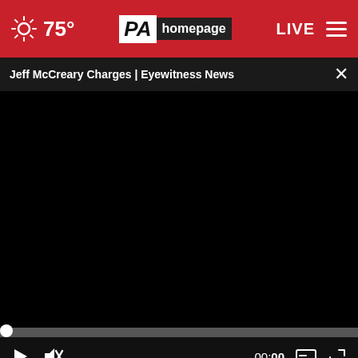[Figure (screenshot): PA Homepage website navigation bar with red background, sun icon, 75° temperature, PA Homepage logo, LIVE text and hamburger menu]
Jeff McCreary Charges | Eyewitness News
[Figure (screenshot): Black video player with progress bar at start showing 00:00, play button, mute button, caption icon, and fullscreen icon]
[Figure (photo): Partial close-up photo of a person's face below the video player]
Her
Smart
[Figure (infographic): Dunkelberger's Sports Outfitter 50 Years advertisement banner with green right panel reading: Next time you think adventure think Dunkelberger's! Dunkelberger.com]